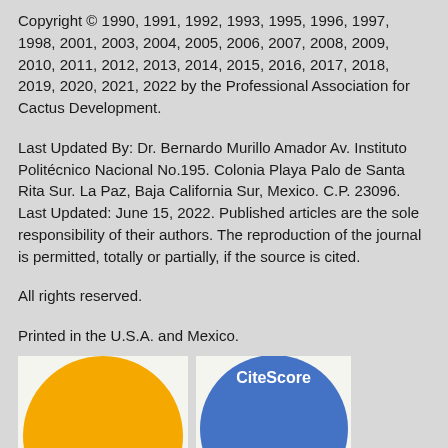Copyright © 1990, 1991, 1992, 1993, 1995, 1996, 1997, 1998, 2001, 2003, 2004, 2005, 2006, 2007, 2008, 2009, 2010, 2011, 2012, 2013, 2014, 2015, 2016, 2017, 2018, 2019, 2020, 2021, 2022 by the Professional Association for Cactus Development.
Last Updated By: Dr. Bernardo Murillo Amador Av. Instituto Politécnico Nacional No.195. Colonia Playa Palo de Santa Rita Sur. La Paz, Baja California Sur, Mexico. C.P. 23096. Last Updated: June 15, 2022. Published articles are the sole responsibility of their authors. The reproduction of the journal is permitted, totally or partially, if the source is cited.
All rights reserved.
Printed in the U.S.A. and Mexico.
[Figure (other): Two partially visible circular badge icons at the bottom of the page. Left badge is a large yellow/gold circle. Right badge is a blue circle with 'CiteScore' text in white.]